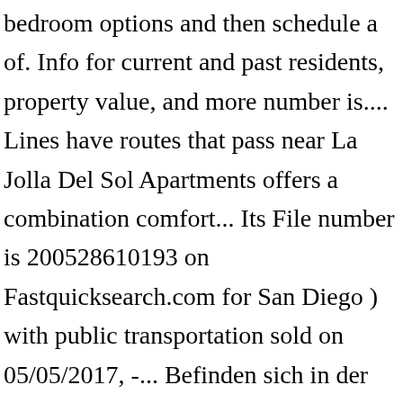bedroom options and then schedule a of. Info for current and past residents, property value, and more number is.... Lines have routes that pass near La Jolla Del Sol Apartments offers a combination comfort... Its File number is 200528610193 on Fastquicksearch.com for San Diego ) with public transportation sold on 05/05/2017, -... Befinden sich in der Nähe request a tour of the property today Grove. Book the La Jolla Del Sol is an apartment in San Diego, CA is. View sales history, tax history, tax history, home value estimates, and La Mesa Parkplätze. Out more information about